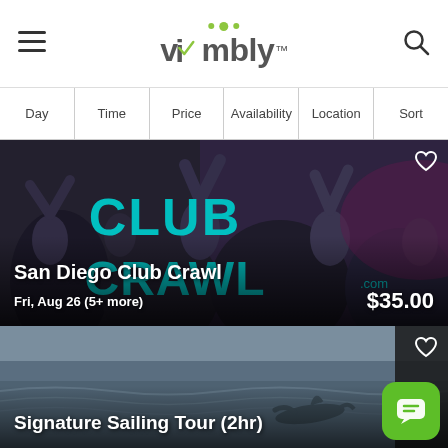Vimbly
Day | Time | Price | Availability | Location | Sort
[Figure (photo): Club Crawl event photo with crowd of people dancing, teal CLUB CRAWL text overlay, dark overlay at bottom with listing title, date, and price]
San Diego Club Crawl
Fri, Aug 26 (5+ more)
$35.00
[Figure (photo): Sailing tour photo showing a dolphin in open ocean water, dark overlay with listing title at bottom, green chat button at bottom right]